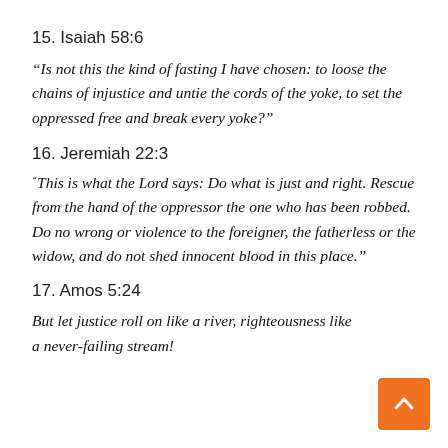15. Isaiah 58:6
“Is not this the kind of fasting I have chosen: to loose the chains of injustice and untie the cords of the yoke, to set the oppressed free and break every yoke?”
16. Jeremiah 22:3
“This is what the Lord says: Do what is just and right. Rescue from the hand of the oppressor the one who has been robbed. Do no wrong or violence to the foreigner, the fatherless or the widow, and do not shed innocent blood in this place.”
17. Amos 5:24
But let justice roll on like a river, righteousness like a never-failing stream!